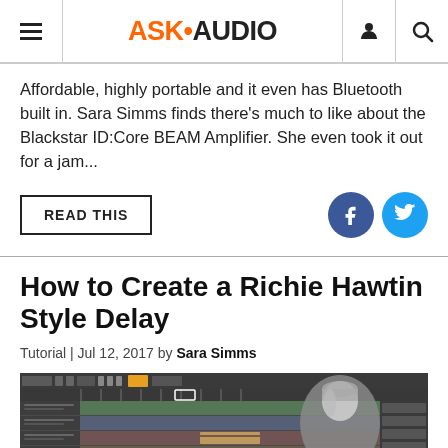ASK•AUDIO
Affordable, highly portable and it even has Bluetooth built in. Sara Simms finds there's much to like about the Blackstar ID:Core BEAM Amplifier. She even took it out for a jam...
READ THIS
How to Create a Richie Hawtin Style Delay
Tutorial | Jul 12, 2017 by Sara Simms
[Figure (screenshot): Screenshot of Ableton Live DAW session with multiple tracks, overlaid with a photo of Richie Hawtin]